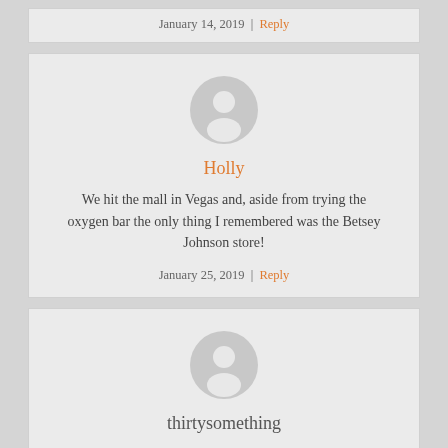January 14, 2019 | Reply
[Figure (illustration): Default user avatar - grey silhouette of a person on a light grey circle]
Holly
We hit the mall in Vegas and, aside from trying the oxygen bar the only thing I remembered was the Betsey Johnson store!
January 25, 2019 | Reply
[Figure (illustration): Default user avatar - grey silhouette of a person on a light grey circle]
thirtysomething
I know I'm a few years late, but I'm torn between despair that my beloved Monkees are mentioned in